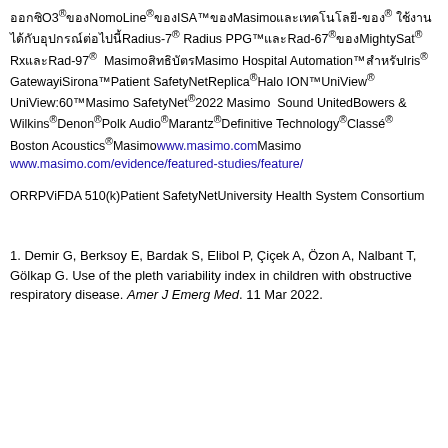ออกซิO3®ของNomo Line®ของISA™ของMasimo และเทคโนโลยี-ของ® ใช้งานได้กับอุปกรณ์ต่อไปนี้Radius-7®Radius PPG™และRad-67®ของMightySat® Rx และRad-97®ของMasimo สิทธิบัตร Masimo Hospital Automation™ สำหรับIris® Gateway​iSirona™​Patient SafetyNet​Replica®​Halo ION™​UniView®​UniView:60™​Masimo SafetyNet®​2022 ​​Masimo ​​​​​​​​​​​​​ Sound United​​​​​ Bowers & Wilkins®​Denon®​Polk Audio®​Marantz®​Definitive Technology®​Classé® ​ Boston Acoustics®​​​Masimo​​​​​​​​​​​​​ www.masimo.com​​​Masimo​​​​​​​​​​​​​ www.masimo.com/evidence/featured-studies/feature/​
OR​RPVi​​​FDA 510(k)​​​​​​​​​Patient SafetyNet​​University Health System Consortium​​​​​
อ้างอิง
1. Demir G, Berksoy E, Bardak S, Elibol P, Çiçek A, Özon A, Nalbant T, Gölkap G. Use of the pleth variability index in children with obstructive respiratory disease. Amer J Emerg Med. 11 Mar 2022.